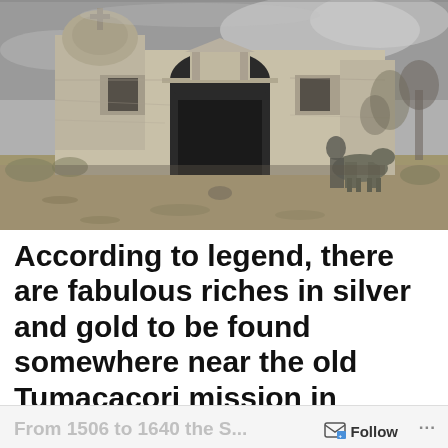[Figure (photo): Black and white photograph of the ruins of the old Tumacacori mission in southern Arizona. The image shows a deteriorating stone church building with a dome partially visible on the left, an arched entrance in the center, ornate facade details, and a horse or mule visible on the right side. The foreground is open dirt ground, and the sky is overcast.]
According to legend, there are fabulous riches in silver and gold to be found somewhere near the old Tumacacori mission in southern Arizona.
From 1506 to 1640 the S...   Follow   ...